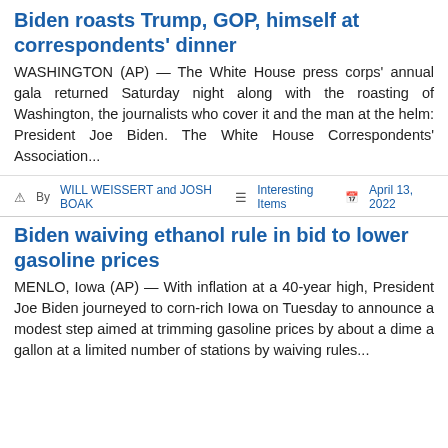Biden roasts Trump, GOP, himself at correspondents' dinner
WASHINGTON (AP) — The White House press corps' annual gala returned Saturday night along with the roasting of Washington, the journalists who cover it and the man at the helm: President Joe Biden. The White House Correspondents' Association...
By WILL WEISSERT and JOSH BOAK  Interesting Items  April 13, 2022
Biden waiving ethanol rule in bid to lower gasoline prices
MENLO, Iowa (AP) — With inflation at a 40-year high, President Joe Biden journeyed to corn-rich Iowa on Tuesday to announce a modest step aimed at trimming gasoline prices by about a dime a gallon at a limited number of stations by waiving rules...